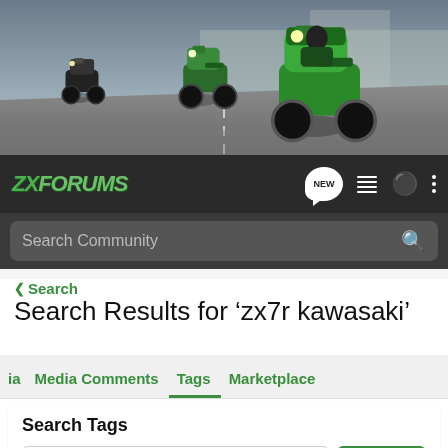[Figure (photo): Banner photo of three Kawasaki motorcycles racing on a track, green sport bikes on a gray road with dramatic lighting]
ZXFORUMS — navigation bar with NEW chat bubble, list icon, user icon, and more options icon
Search Community
< Search
Search Results for ‘zx7r kawasaki’
dia   Media Comments   Tags   Marketplace
Search Tags
× zx7r kawasaki   Search